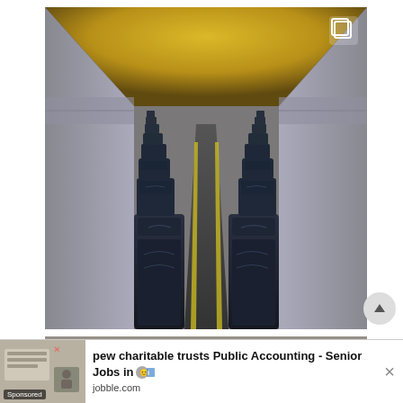[Figure (photo): Interior of an airplane cabin showing rows of dark blue/navy leather seats receding into the distance down a central aisle. The overhead panels are yellow/golden colored. The aisle has yellow stripes. The photo is taken from the rear of the plane looking forward in perspective.]
[Figure (photo): Partial view of a second photo below the main image, showing what appears to be a room interior with ceiling lights.]
pew charitable trusts Public Accounting - Senior Jobs in
Sponsored
jobble.com